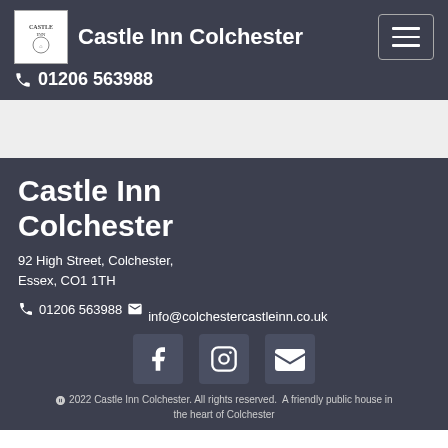Castle Inn Colchester  01206 563988
Castle Inn Colchester
92 High Street, Colchester, Essex, CO1 1TH
01206 563988  info@colchestercastleinn.co.uk
[Figure (other): Social media icons: Facebook, Instagram, Email]
© 2022 Castle Inn Colchester. All rights reserved. A friendly public house in the heart of Colchester